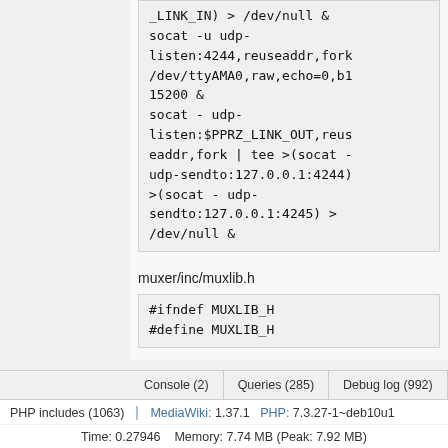_LINK_IN) > /dev/null &
socat -u udp-listen:4244,reuseaddr,fork /dev/ttyAMA0,raw,echo=0,b115200 &
socat - udp-listen:$PPRZ_LINK_OUT,reuseaddr,fork | tee >(socat - udp-sendto:127.0.0.1:4244) >(socat - udp-sendto:127.0.0.1:4245) > /dev/null &
muxer/inc/muxlib.h
#ifndef MUXLIB_H
#define MUXLIB_H
Console (2)   Queries (285)   Debug log (992)   Request
PHP includes (1063)   MediaWiki: 1.37.1   PHP: 7.3.27-1~deb10u1
Time: 0.27946   Memory: 7.74 MB (Peak: 7.92 MB)